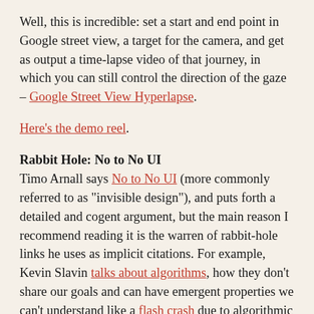Well, this is incredible: set a start and end point in Google street view, a target for the camera, and get as output a time-lapse video of that journey, in which you can still control the direction of the gaze – Google Street View Hyperlapse.
Here's the demo reel.
Rabbit Hole: No to No UI
Timo Arnall says No to No UI (more commonly referred to as "invisible design"), and puts forth a detailed and cogent argument, but the main reason I recommend reading it is the warren of rabbit-hole links he uses as implicit citations. For example, Kevin Slavin talks about algorithms, how they don't share our goals and can have emergent properties we can't understand like a flash crash due to algorithmic stock trading, and then he takes a hop from "60% of Netflix viewing comes from the